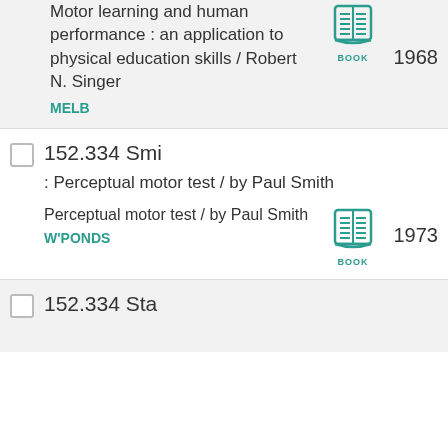Motor learning and human performance : an application to physical education skills / Robert N. Singer MELB 1968
152.334 Smi : Perceptual motor test / by Paul Smith
Perceptual motor test / by Paul Smith W'PONDS 1973
152.334 Sta